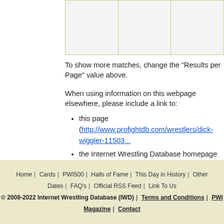|  |  |  |
To show more matches, change the "Results per Page" value above.
When using information on this webpage elsewhere, please include a link to:
this page (http://www.profightdb.com/wrestlers/dick-wiggler-11503...)
the Internet Wrestling Database homepage (www.profightdb.com)
Thanks!
Home | Cards | PWI500 | Halls of Fame | This Day in History | Other | Dates | FAQ's | Official RSS Feed | Link To Us © 2008-2022 Internet Wrestling Database (IWD) | Terms and Conditions | PWI Magazine | Contact